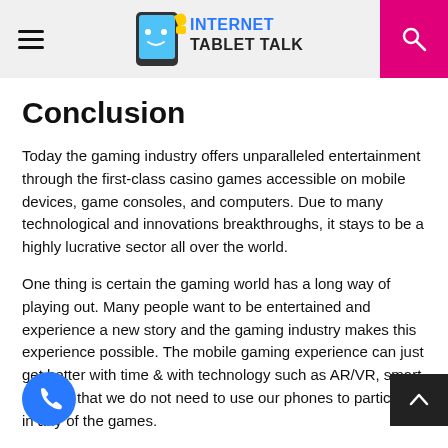INTERNET TABLET TALK
Conclusion
Today the gaming industry offers unparalleled entertainment through the first-class casino games accessible on mobile devices, game consoles, and computers. Due to many technological and innovations breakthroughs, it stays to be a highly lucrative sector all over the world.
One thing is certain the gaming world has a long way of playing out. Many people want to be entertained and experience a new story and the gaming industry makes this experience possible. The mobile gaming experience can just get better with time & with technology such as AR/VR, smart glasses that we do not need to use our phones to participate in any of the games.